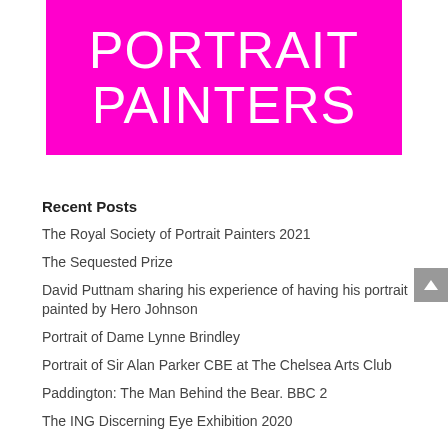[Figure (logo): Bright magenta/pink background with large white text reading 'PORTRAIT PAINTERS' in uppercase thin font]
Recent Posts
The Royal Society of Portrait Painters 2021
The Sequested Prize
David Puttnam sharing his experience of having his portrait painted by Hero Johnson
Portrait of Dame Lynne Brindley
Portrait of Sir Alan Parker CBE at The Chelsea Arts Club
Paddington: The Man Behind the Bear. BBC 2
The ING Discerning Eye Exhibition 2020